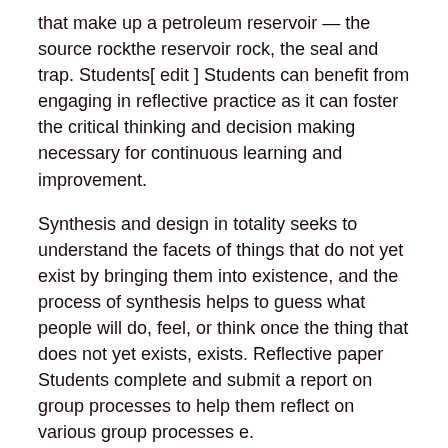that make up a petroleum reservoir — the source rockthe reservoir rock, the seal and trap. Students[ edit ] Students can benefit from engaging in reflective practice as it can foster the critical thinking and decision making necessary for continuous learning and improvement.
Synthesis and design in totality seeks to understand the facets of things that do not yet exist by bringing them into existence, and the process of synthesis helps to guess what people will do, feel, or think once the thing that does not yet exists, exists. Reflective paper Students complete and submit a report on group processes to help them reflect on various group processes e.
Visible Reflection Techniques WHY MAKE LEARNING ACTIVE AND VISUAL? If you attend one of my reviewing skills workshops you will be spending most of your time as an active participant - actively learning about active